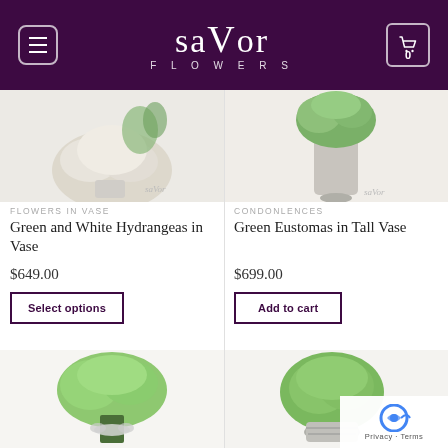saVor FLOWERS
[Figure (screenshot): Product image strip showing flower arrangements - top portion of two products visible (white/green hydrangeas left, green eustomas in vase right)]
FLOWERS IN VASE
Green and White Hydrangeas in Vase
$649.00
Select options
CONDONLENCES
Green Eustomas in Tall Vase
$699.00
Add to cart
[Figure (photo): Green eustoma bouquet with ribbon on left side]
[Figure (photo): Green hydrangeas in decorative vase on right side]